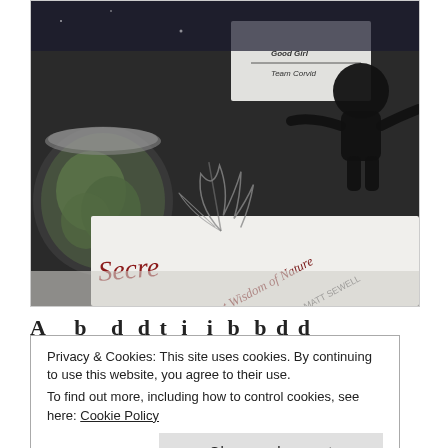[Figure (photo): Photo of a book titled 'Secret Wisdom of Nature' by Matt Sewell lying on a white surface, with a glass terrarium containing moss on the left, a botanical illustration on the book cover, and a black figurine/sculpture on the right. Behind the book is a white card with text 'Good Girl' and 'Team Corvid'.]
A a a b b b d d t t i i i i b b b b d d
Privacy & Cookies: This site uses cookies. By continuing to use this website, you agree to their use.
To find out more, including how to control cookies, see here: Cookie Policy
Close and accept
we just started coming up with ideas left and right and